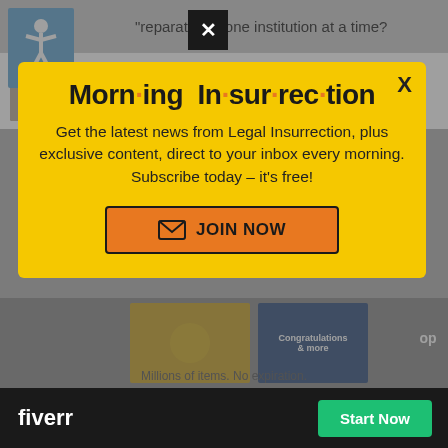"reparations" one institution at a time?
The Gentle Grizzly | June 20, 2022 at 12:15 pm
[Figure (screenshot): Modal popup ad on yellow background for Morning Insurrection newsletter with JOIN NOW button]
Morn·ing In·sur·rec·tion
Get the latest news from Legal Insurrection, plus exclusive content, direct to your inbox every morning. Subscribe today – it's free!
JOIN NOW
[Figure (screenshot): Bottom ad bar for Fiverr with Start Now button]